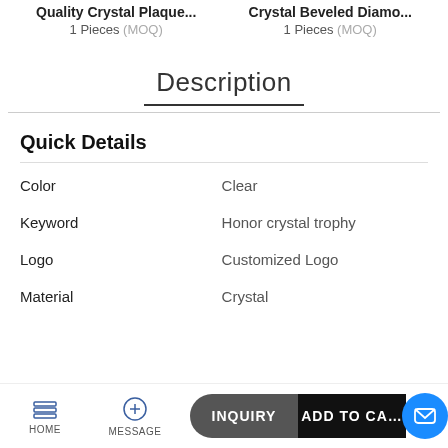Quality Crystal Plaque... — 1 Pieces (MOQ)
Crystal Beveled Diamo... — 1 Pieces (MOQ)
Description
Quick Details
|  |  |
| --- | --- |
| Color | Clear |
| Keyword | Honor crystal trophy |
| Logo | Customized Logo |
| Material | Crystal |
HOME  MESSAGE  INQUIRY  ADD TO CART